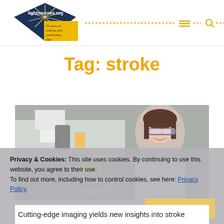[Figure (logo): lightsources.org logo with dark blue diamond/rhombus shape with starburst, yellow badge reading '75 years of science with synchrotron light']
Tag: stroke
[Figure (photo): Female scientist in lab coat and safety glasses working with lab equipment, smiling at camera]
Privacy & Cookies: This site uses cookies. By continuing to use this website, you agree to their use.
To find out more, including how to control cookies, see here: Privacy Policy
Close and accept
Cutting-edge imaging yields new insights into stroke